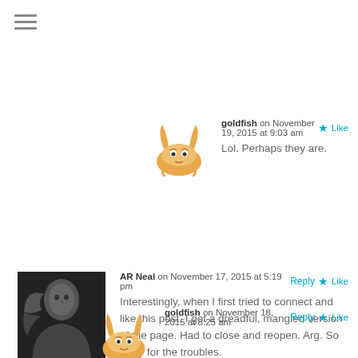[Figure (other): Hamburger menu icon (three horizontal lines)]
goldfish on November 19, 2015 at 9:03 am
Lol. Perhaps they are.
AR Neal on November 17, 2015 at 5:19 pm
Interestingly, when I first tried to connect and like this post, I got a dreadful, mangled version of the page. Had to close and reopen. Arg. So sorry for the troubles.
goldfish on November 18, 2015 at 8:25 am